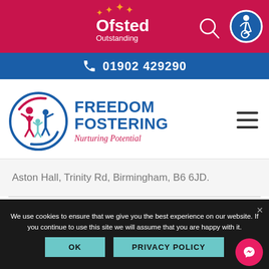[Figure (logo): Ofsted Outstanding logo with stars on crimson/pink background header bar]
01902 429290
[Figure (logo): Freedom Fostering logo with circular icon of people and text 'FREEDOM FOSTERING Nurturing Potential']
Aston Hall, Trinity Rd, Birmingham, B6 6JD.
We use cookies to ensure that we give you the best experience on our website. If you continue to use this site we will assume that you are happy with it.
OK
PRIVACY POLICY